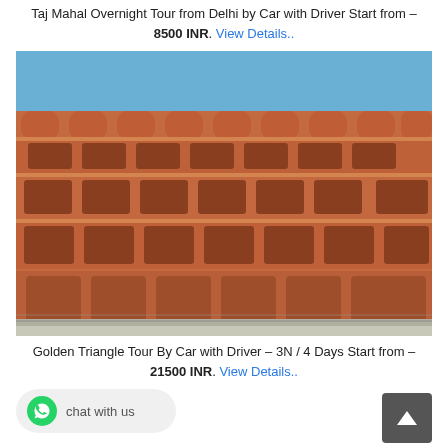Taj Mahal Overnight Tour from Delhi by Car with Driver Start from – 8500 INR. View Details..
[Figure (photo): Photograph of Hawa Mahal (Palace of Winds) in Jaipur, India — a large ornate pink sandstone facade with multiple tiers of arched windows and balconies under a blue sky]
Golden Triangle Tour By Car with Driver – 3N / 4 Days Start from – 21500 INR. View Details..
[Figure (other): WhatsApp chat button with green icon and 'chat with us' text]